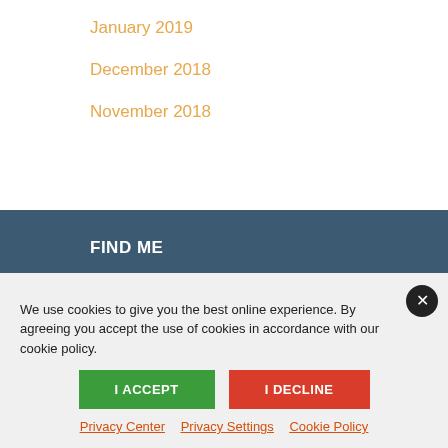January 2019
December 2018
November 2018
FIND ME
1904 3rd Avenue, Suite 622
Seattle, WA 98101
We use cookies to give you the best online experience. By agreeing you accept the use of cookies in accordance with our cookie policy.
I ACCEPT
I DECLINE
Privacy Center   Privacy Settings   Cookie Policy